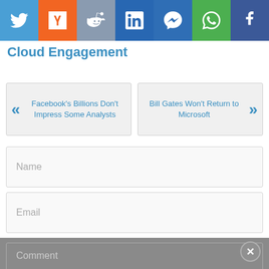[Figure (infographic): Social share buttons bar with icons for Twitter, Y Combinator, Reddit, LinkedIn, Messenger, WhatsApp, and Facebook]
Cloud Engagement
Facebook's Billions Don't Impress Some Analysts
Bill Gates Won't Return to Microsoft
Name
Email
Comment